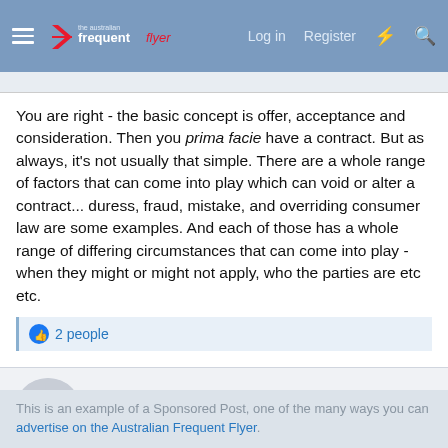the Australian Frequent Flyer | Log in | Register
You are right - the basic concept is offer, acceptance and consideration. Then you prima facie have a contract. But as always, it's not usually that simple. There are a whole range of factors that can come into play which can void or alter a contract... duress, fraud, mistake, and overriding consumer law are some examples. And each of those has a whole range of differing circumstances that can come into play - when they might or might not apply, who the parties are etc etc.
2 people
Sponsored Post
This is an example of a Sponsored Post, one of the many ways you can advertise on the Australian Frequent Flyer.